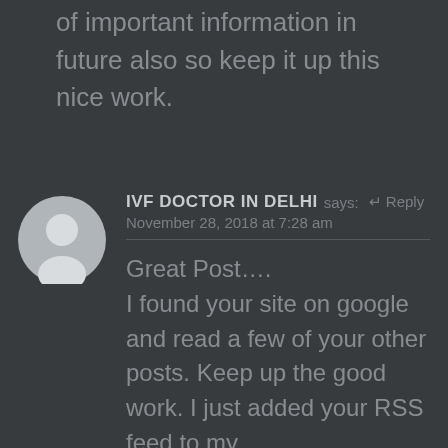of important information in future also so keep it up this nice work.
IVF DOCTOR IN DELHI says: Reply
November 28, 2018 at 7:28 am
Great Post….
I found your site on google and read a few of your other posts. Keep up the good work. I just added your RSS feed to my